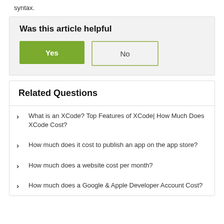syntax.
Was this article helpful
Yes | No
Related Questions
What is an XCode? Top Features of XCode| How Much Does XCode Cost?
How much does it cost to publish an app on the app store?
How much does a website cost per month?
How much does a Google & Apple Developer Account Cost?